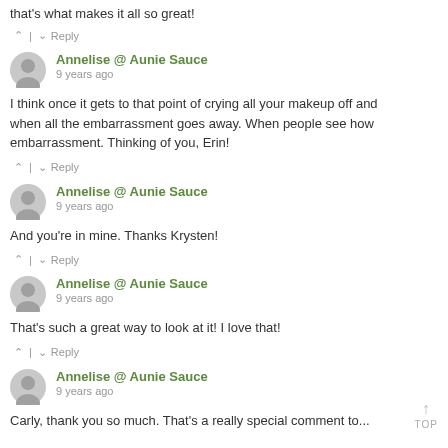that's what makes it all so great!
^ | v  Reply
Annelise @ Aunie Sauce
9 years ago
I think once it gets to that point of crying all your makeup off and when all the embarrassment goes away. When people see how embarrassment. Thinking of you, Erin!
^ | v  Reply
Annelise @ Aunie Sauce
9 years ago
And you're in mine. Thanks Krysten!
^ | v  Reply
Annelise @ Aunie Sauce
9 years ago
That's such a great way to look at it! I love that!
^ | v  Reply
Annelise @ Aunie Sauce
9 years ago
Carly, thank you so much. That's a really special comment to...